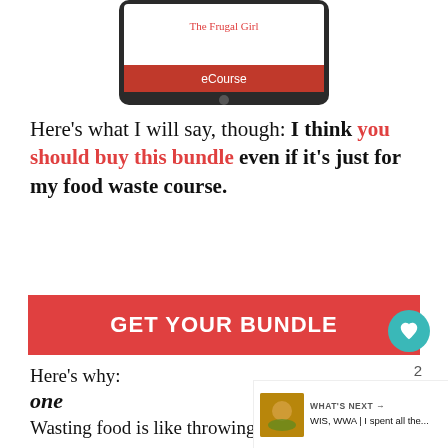[Figure (illustration): Tablet device showing 'The Frugal Girl' text and 'eCourse' red banner]
Here’s what I will say, though: I think you should buy this bundle even if it’s just for my food waste course.
[Figure (other): Red button: GET YOUR BUNDLE]
Here’s why:
one
Wasting food is like throwing dollar bills into your trash can. And since you read this blog, I